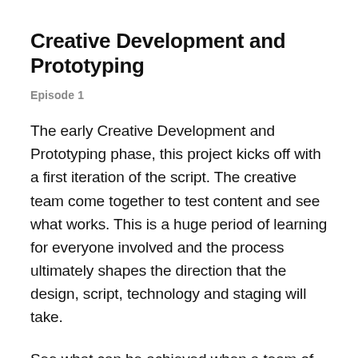Creative Development and Prototyping
Episode 1
The early Creative Development and Prototyping phase, this project kicks off with a first iteration of the script. The creative team come together to test content and see what works. This is a huge period of learning for everyone involved and the process ultimately shapes the direction that the design, script, technology and staging will take.
See what can be achieved when a team of creative people are brought into the same